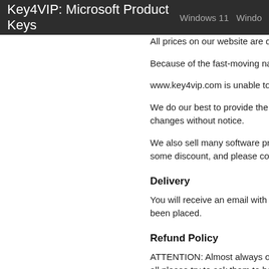Key4VIP: Microsoft Product Keys  Windows 11  Windo
All prices on our website are quoted
Because of the fast-moving nature o
www.key4vip.com is unable to issue
We do our best to provide the most a changes without notice.
We also sell many software products some discount, and please contact u
Delivery
You will receive an email with the ac been placed.
Refund Policy
ATTENTION: Almost always our Sup all please try to ask them to help you
Refund can be issued in the case of